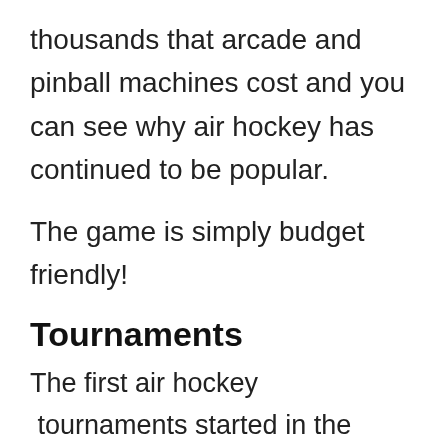thousands that arcade and pinball machines cost and you can see why air hockey has continued to be popular.
The game is simply budget friendly!
Tournaments
The first air hockey  tournaments started in the mid-’70s. The first air hockey association was
created in Houston back in 1973 and